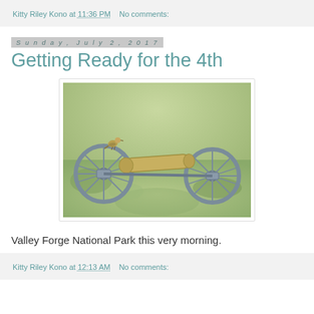Kitty Riley Kono at 11:36 PM   No comments:
Sunday, July 2, 2017
Getting Ready for the 4th
[Figure (photo): A small bird perched on a historic cannon at Valley Forge National Park, with a grassy field in the background. The cannon has two large spoked wheels.]
Valley Forge National Park this very morning.
Kitty Riley Kono at 12:13 AM   No comments: